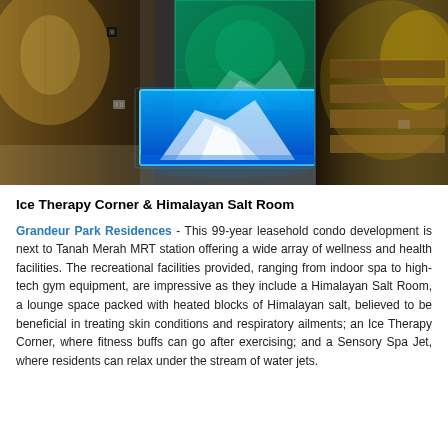[Figure (photo): Interior photo of a spa facility showing a glowing blue illuminated ice/salt therapy tank with a mountain of white salt inside, a green-lit glass enclosure in the background, and a warmly lit sauna area with wooden steps on the right side.]
Ice Therapy Corner & Himalayan Salt Room
Grandeur Park Residences - This 99-year leasehold condo development is next to Tanah Merah MRT station offering a wide array of wellness and health facilities. The recreational facilities provided, ranging from indoor spa to high-tech gym equipment, are impressive as they include a Himalayan Salt Room, a lounge space packed with heated blocks of Himalayan salt, believed to be beneficial in treating skin conditions and respiratory ailments; an Ice Therapy Corner, where fitness buffs can go after exercising; and a Sensory Spa Jet, where residents can relax under the stream of water jets.